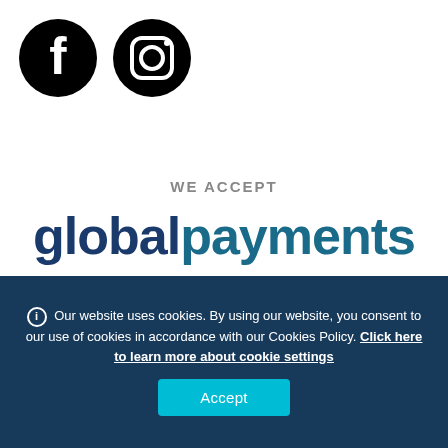[Figure (logo): Facebook and Instagram social media icons (black circles with white logos)]
WE ACCEPT
[Figure (logo): Global Payments logo in dark blue text]
[Figure (logo): Maestro, Mastercard, and Visa payment logos]
Our website uses cookies. By using our website, you consent to our use of cookies in accordance with our Cookies Policy. Click here to learn more about cookie settings